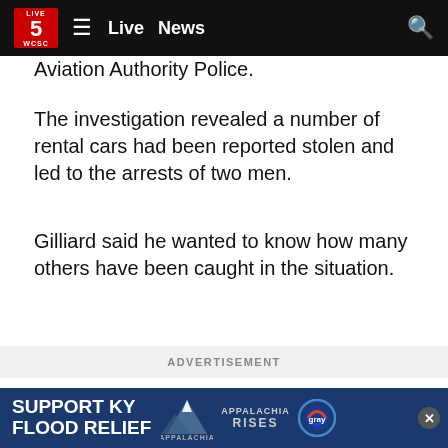Live 5 WCSC — Live | News
Aviation Authority Police.
The investigation revealed a number of rental cars had been reported stolen and led to the arrests of two men.
Gilliard said he wanted to know how many others have been caught in the situation.
ADVERTISEMENT
He said when he couldn't get answers from Budget-Avis officials, Gilliard reached out to contacts at the Charleston International...cked the sec...
[Figure (other): Support KY Flood Relief banner with Appalachia Rises and Gray Television logos]